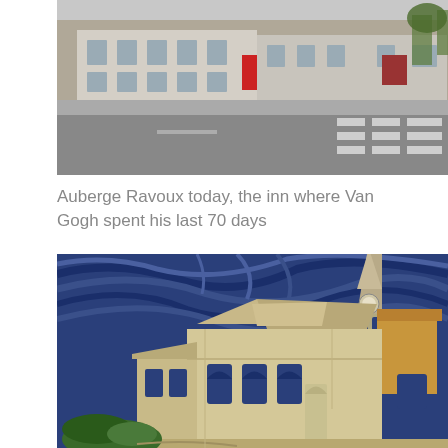[Figure (photo): Street-level photo of Auberge Ravoux building with a road and crosswalk in the foreground, taken today]
Auberge Ravoux today, the inn where Van Gogh spent his last 70 days
[Figure (illustration): Van Gogh's painting of a church (The Church at Auvers) with a dramatic dark blue swirling sky and a Gothic stone church building in warm golden tones]